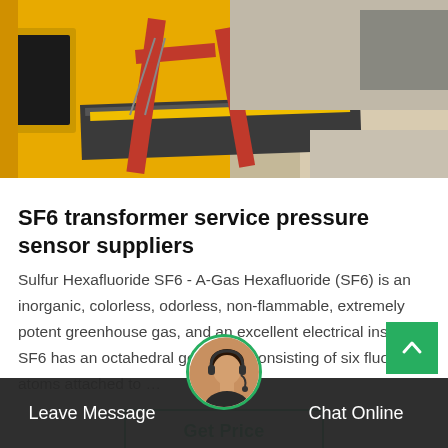[Figure (photo): Yellow utility truck with red frame and platform on a construction/road site]
SF6 transformer service pressure sensor suppliers
Sulfur Hexafluoride SF6 - A-Gas Hexafluoride (SF6) is an inorganic, colorless, odorless, non-flammable, extremely potent greenhouse gas, and an excellent electrical insulator. SF6 has an octahedral geometry, consisting of six fluorine atoms attached to …
Get Price
Leave Message
Chat Online